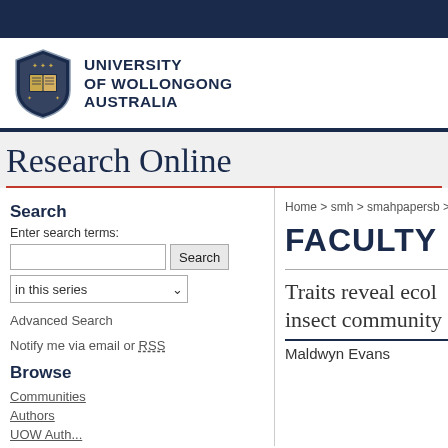[Figure (logo): University of Wollongong Australia shield logo with text]
Research Online
Search
Enter search terms:
in this series
Advanced Search
Notify me via email or RSS
Browse
Communities
Authors
Home > smh > smahpapersb > 12...
FACULTY
Traits reveal ecol insect community
Maldwyn Evans